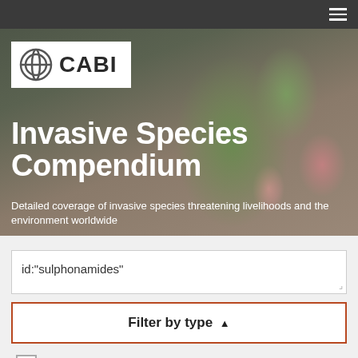[Figure (screenshot): CABI Invasive Species Compendium website screenshot showing navigation bar, hero image with cactus background, logo, title, subtitle, search box with query id:"sulphonamides", Filter by type button, and filter checkboxes]
Invasive Species Compendium
Detailed coverage of invasive species threatening livelihoods and the environment worldwide
id:"sulphonamides"
Filter by type ▲
Datasheets (0)
Basic datasheets (0)